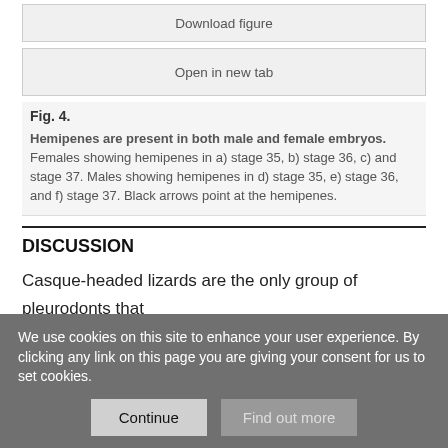[Figure (other): Button labeled 'Download figure']
[Figure (other): Button labeled 'Open in new tab']
Fig. 4.
Hemipenes are present in both male and female embryos.
Females showing hemipenes in a) stage 35, b) stage 36, c) and stage 37. Males showing hemipenes in d) stage 35, e) stage 36, and f) stage 37. Black arrows point at the hemipenes.
DISCUSSION
Casque-headed lizards are the only group of pleurodonts that transitioned from the ancestral XY system to a more recent pair of
We use cookies on this site to enhance your user experience. By clicking any link on this page you are giving your consent for us to set cookies.